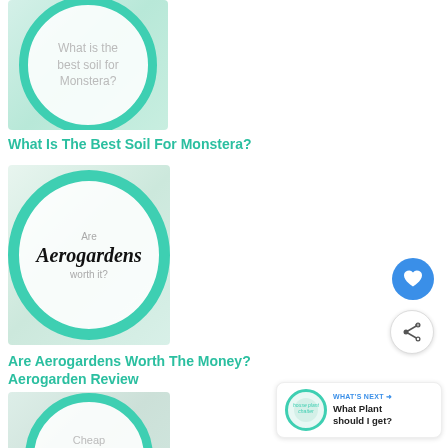[Figure (illustration): Circular green-ringed thumbnail image with text 'What is the best soil for Monstera?' inside]
What Is The Best Soil For Monstera?
[Figure (illustration): Circular green-ringed thumbnail image with cursive text 'Are Aerogardens worth it?' inside]
Are Aerogardens Worth The Money? Aerogarden Review
[Figure (illustration): Circular green-ringed thumbnail image with text 'Cheap Amazon grow light' inside, partially visible]
[Figure (illustration): WHAT'S NEXT arrow with logo and title 'What Plant should I get?']